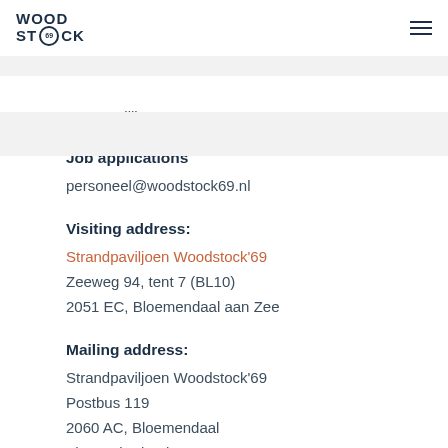WOOD STOCK 69 [logo with hamburger menu]
Koene Hijlkema
Job applications
personeel@woodstock69.nl
Visiting address:
Strandpaviljoen Woodstock'69
Zeeweg 94, tent 7 (BL10)
2051 EC, Bloemendaal aan Zee
Mailing address:
Strandpaviljoen Woodstock'69
Postbus 119
2060 AC, Bloemendaal
The Netherlands